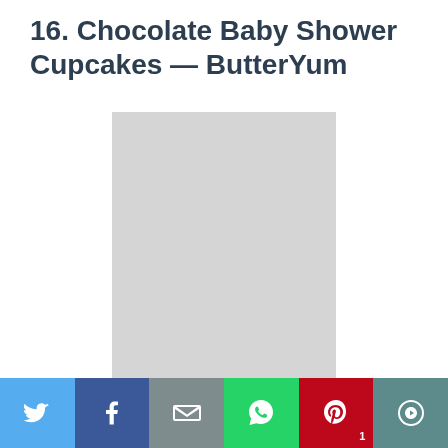16. Chocolate Baby Shower Cupcakes — ButterYum
[Figure (photo): Grey placeholder image for chocolate baby shower cupcakes photo]
[Figure (infographic): Social sharing toolbar with Twitter, Facebook, Email, WhatsApp, Pinterest, and More buttons]